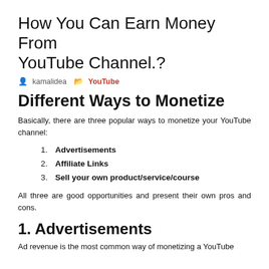How You Can Earn Money From YouTube Channel.?
kamalidea   YouTube
Different Ways to Monetize
Basically, there are three popular ways to monetize your YouTube channel:
1. Advertisements
2. Affiliate Links
3. Sell your own product/service/course
All three are good opportunities and present their own pros and cons.
1. Advertisements
Ad revenue is the most common way of monetizing a YouTube